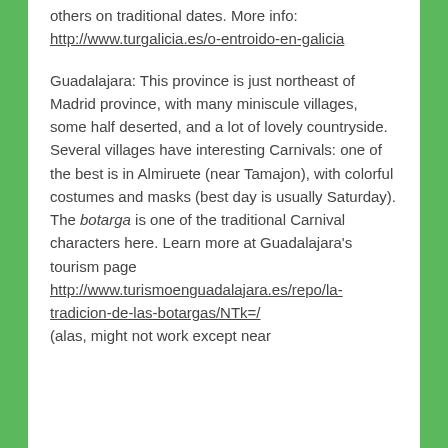others on traditional dates. More info: http://www.turgalicia.es/o-entroido-en-galicia
Guadalajara: This province is just northeast of Madrid province, with many miniscule villages, some half deserted, and a lot of lovely countryside. Several villages have interesting Carnivals: one of the best is in Almiruete (near Tamajon), with colorful costumes and masks (best day is usually Saturday). The botarga is one of the traditional Carnival characters here. Learn more at Guadalajara's tourism page http://www.turismoenguadalajara.es/repo/la-tradicion-de-las-botargas/NTk=/ (alas, might not work except near